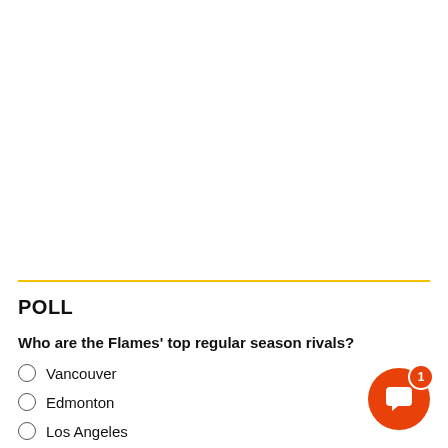POLL
Who are the Flames' top regular season rivals?
Vancouver
Edmonton
Los Angeles
Another Team